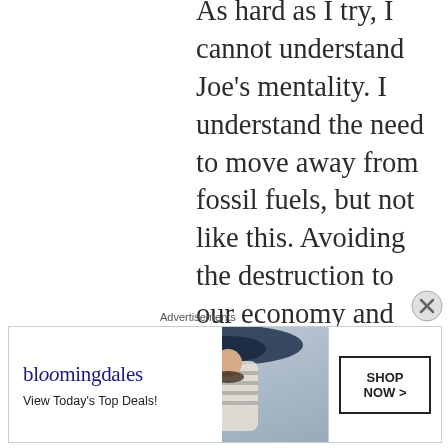As hard as I try, I cannot understand Joe's mentality. I understand the need to move away from fossil fuels, but not like this. Avoiding the destruction to our economy and disallowing a monster to wage war should take priority … should replace his pink-bubbled dream of a
Advertisements
[Figure (screenshot): Bloomingdale's advertisement banner with logo, 'View Today's Top Deals!' tagline, image of woman in large hat, and 'SHOP NOW >' button]